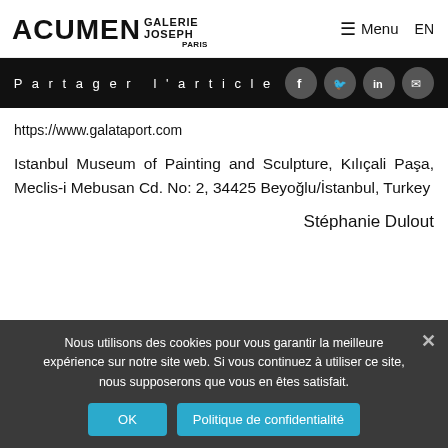ACUMEN GALERIE JOSEPH PARIS — Menu — EN
Partager l'article
https://www.galataport.com
Istanbul Museum of Painting and Sculpture, Kılıçali Paşa, Meclis-i Mebusan Cd. No: 2, 34425 Beyoğlu/İstanbul, Turkey
Stéphanie Dulout
Nous utilisons des cookies pour vous garantir la meilleure expérience sur notre site web. Si vous continuez à utiliser ce site, nous supposerons que vous en êtes satisfait.